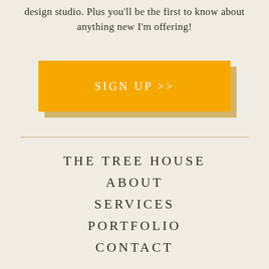design studio. Plus you'll be the first to know about anything new I'm offering!
[Figure (other): Yellow call-to-action button with text 'SIGN UP >>' and a dark shadow offset]
THE TREE HOUSE
ABOUT
SERVICES
PORTFOLIO
CONTACT